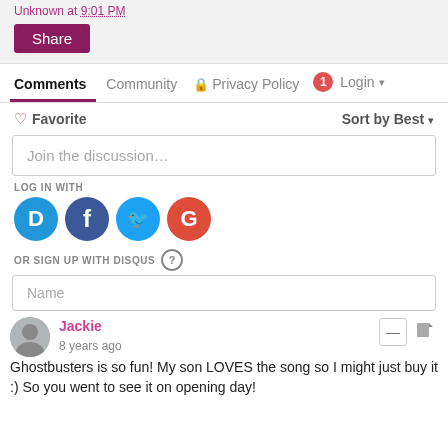Unknown at 9:01 PM
Share
Comments | Community | Privacy Policy | 1 | Login
♡ Favorite   Sort by Best ▾
Join the discussion…
LOG IN WITH
[Figure (logo): Social login icons: Disqus (D blue), Facebook (f dark blue), Twitter (bird blue), Google (G red)]
OR SIGN UP WITH DISQUS ?
Name
Jackie
8 years ago
Ghostbusters is so fun! My son LOVES the song so I might just buy it :) So you went to see it on opening day!